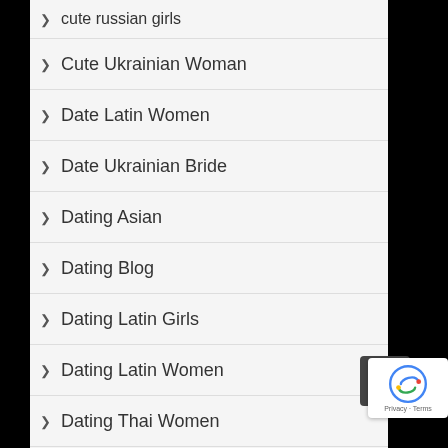cute russian girls
Cute Ukrainian Woman
Date Latin Women
Date Ukrainian Bride
Dating Asian
Dating Blog
Dating Latin Girls
Dating Latin Women
Dating Thai Women
Dating Tips For Adults